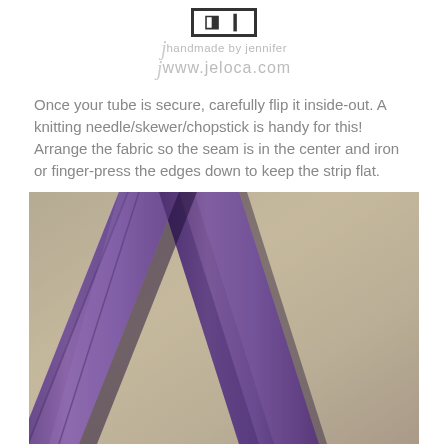JA handmade by jennifer www.jeloca.com
Once your tube is secure, carefully flip it inside-out. A knitting needle/skewer/chopstick is handy for this! Arrange the fabric so the seam is in the center and iron or finger-press the edges down to keep the strip flat.
[Figure (photo): Photo of a purple fabric tube/strip laid flat on a beige/tan surface, showing the seam centered along the strip, viewed from above at an angle.]